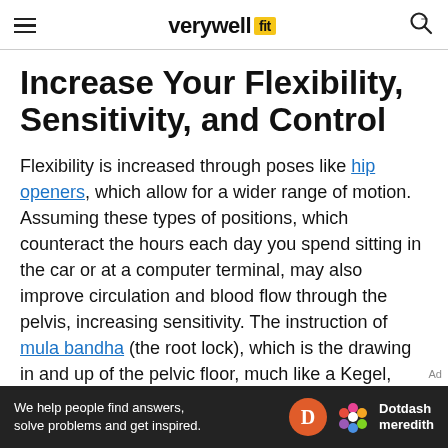verywell fit
Increase Your Flexibility, Sensitivity, and Control
Flexibility is increased through poses like hip openers, which allow for a wider range of motion. Assuming these types of positions, which counteract the hours each day you spend sitting in the car or at a computer terminal, may also improve circulation and blood flow through the pelvis, increasing sensitivity. The instruction of mula bandha (the root lock), which is the drawing in and up of the pelvic floor, much like a Kegel,
[Figure (other): Dotdash Meredith advertisement banner with text 'We help people find answers, solve problems and get inspired.' alongside Dotdash Meredith logo]